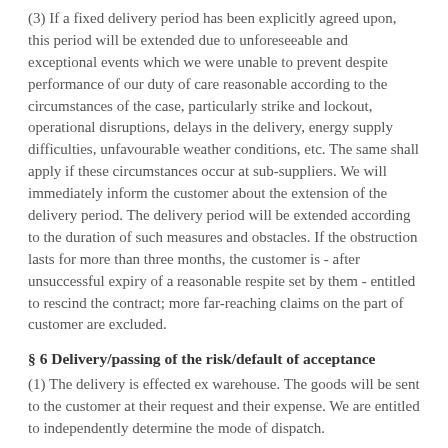(3) If a fixed delivery period has been explicitly agreed upon, this period will be extended due to unforeseeable and exceptional events which we were unable to prevent despite performance of our duty of care reasonable according to the circumstances of the case, particularly strike and lockout, operational disruptions, delays in the delivery, energy supply difficulties, unfavourable weather conditions, etc. The same shall apply if these circumstances occur at sub-suppliers. We will immediately inform the customer about the extension of the delivery period. The delivery period will be extended according to the duration of such measures and obstacles. If the obstruction lasts for more than three months, the customer is - after unsuccessful expiry of a reasonable respite set by them - entitled to rescind the contract; more far-reaching claims on the part of customer are excluded.
§ 6 Delivery/passing of the risk/default of acceptance
(1) The delivery is effected ex warehouse. The goods will be sent to the customer at their request and their expense. We are entitled to independently determine the mode of dispatch.